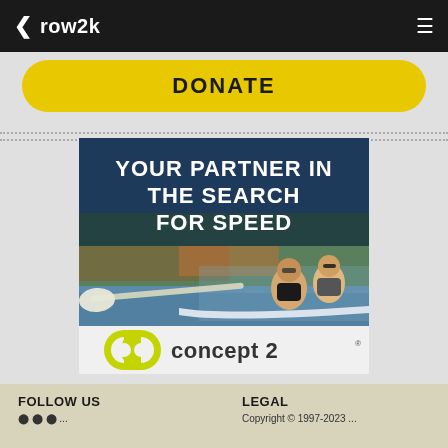row2k
DONATE
[Figure (illustration): Concept2 advertisement banner showing two rowers in a double scull on a lake with autumn foliage in the background. Text overlay reads 'YOUR PARTNER IN THE SEARCH FOR SPEED'. Concept2 logo at bottom.]
FOLLOW US | LEGAL